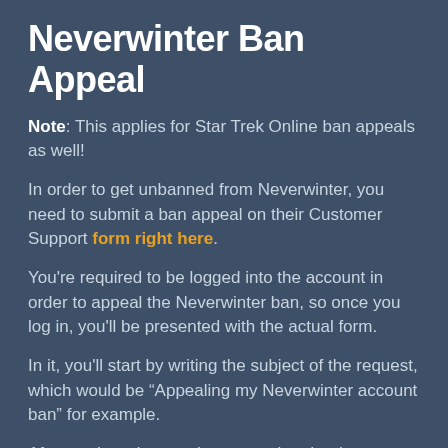Neverwinter Ban Appeal
Note: This applies for Star Trek Online ban appeals as well!
In order to get unbanned from Neverwinter, you need to submit a ban appeal on their Customer Support form right here.
You're required to be logged into the account in order to appeal the Neverwinter ban, so once you log in, you'll be presented with the actual form.
In it, you'll start by writing the subject of the request, which would be “Appealing my Neverwinter account ban” for example.
Afterwards, write your ban appeal under the “Question” field. Yup, it says question, but it's more